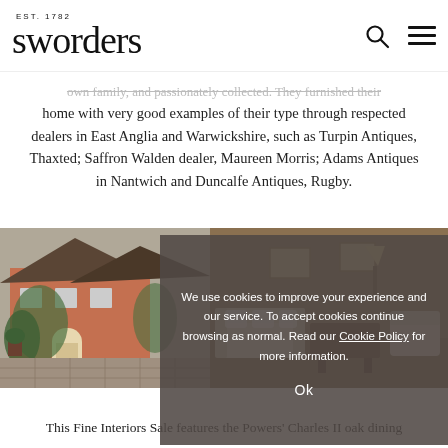EST. 1782 sworders
home with very good examples of their type through respected dealers in East Anglia and Warwickshire, such as Turpin Antiques, Thaxted; Saffron Walden dealer, Maureen Morris; Adams Antiques in Nantwich and Duncalfe Antiques, Rugby.
[Figure (photo): Exterior of a red-brick English country house with ivy and a paved courtyard garden]
[Figure (photo): Interior room showing upholstered furniture and wooden dining area]
[Figure (screenshot): Cookie consent overlay reading: We use cookies to improve your experience and our service. To accept cookies continue browsing as normal. Read our Cookie Policy for more information. Ok]
This Fine Interiors Sale features the Powers' Charles II oak dining